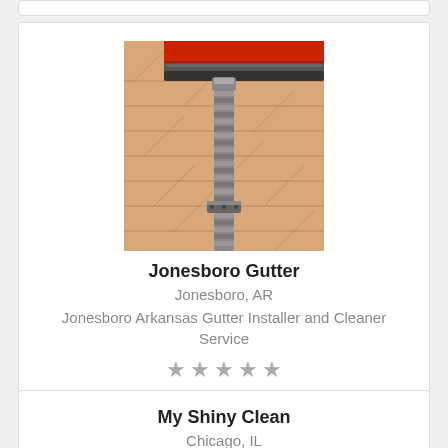[Figure (illustration): Illustration of a gutter downspout attached to the side of a house with a red roof visible at the top]
Jonesboro Gutter
Jonesboro, AR
Jonesboro Arkansas Gutter Installer and Cleaner Service
★★★★★
My Shiny Clean
Chicago, IL